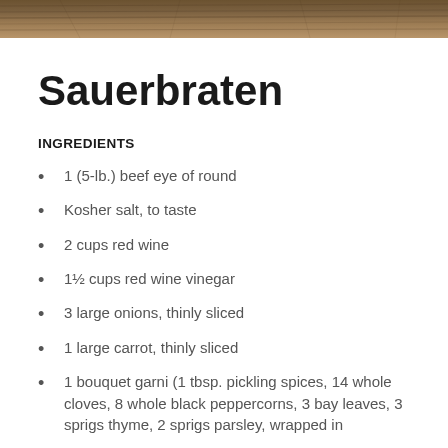[Figure (photo): Wooden texture header image banner at the top of the page]
Sauerbraten
INGREDIENTS
1 (5-lb.) beef eye of round
Kosher salt, to taste
2 cups red wine
1½ cups red wine vinegar
3 large onions, thinly sliced
1 large carrot, thinly sliced
1 bouquet garni (1 tbsp. pickling spices, 14 whole cloves, 8 whole black peppercorns, 3 bay leaves, 3 sprigs thyme, 2 sprigs parsley, wrapped in